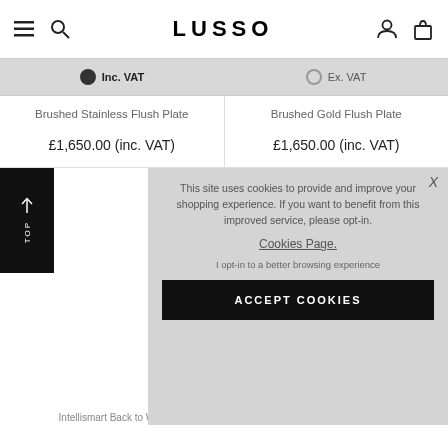LUSSO
Inc. VAT  Ex. VAT
Brushed Stainless Flush Plate
Brushed Gold Flush Plate
£1,650.00 (inc. VAT)
£1,650.00 (inc. VAT)
This site uses cookies to provide and improve your shopping experience. If you want to benefit from this improved service, please opt-in.
Cookies Page.
I opt-in to a better browsing experience
ACCEPT COOKIES
Intellismart Back to Wall
Intellismart Back to Wall